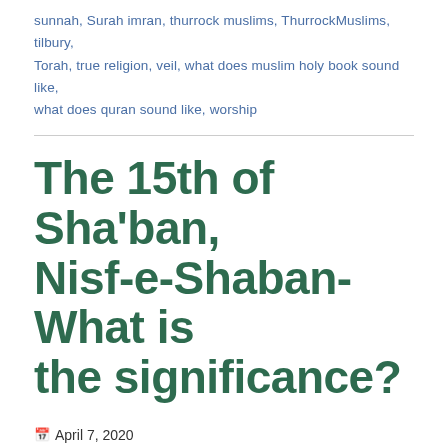sunnah, Surah imran, thurrock muslims, ThurrockMuslims, tilbury, Torah, true religion, veil, what does muslim holy book sound like, what does quran sound like, worship
The 15th of Sha'ban, Nisf-e-Shaban- What is the significance?
April 7, 2020
Thurrock Muslim Community- thurrockmuslims.com
Leave a comment
The 15th of Sha'ban, Nisf-e-Shaban- What is the